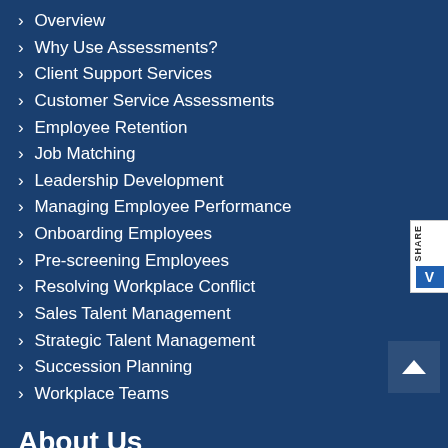> Overview
> Why Use Assessments?
> Client Support Services
> Customer Service Assessments
> Employee Retention
> Job Matching
> Leadership Development
> Managing Employee Performance
> Onboarding Employees
> Pre-screening Employees
> Resolving Workplace Conflict
> Sales Talent Management
> Strategic Talent Management
> Succession Planning
> Workplace Teams
About Us